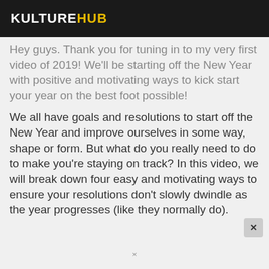KULTUREHUB
Hey guys. Thank you for tuning in to my very first video of 2019! We'll be starting off the New Year with positive and motivating ways to kick start your year on the best foot possible!
We all have goals and resolutions to start off the New Year and improve ourselves in some way, shape or form. But what do you really need to do to make you're staying on track? In this video, we will break down four easy and motivating ways to ensure your resolutions don't slowly dwindle as the year progresses (like they normally do).